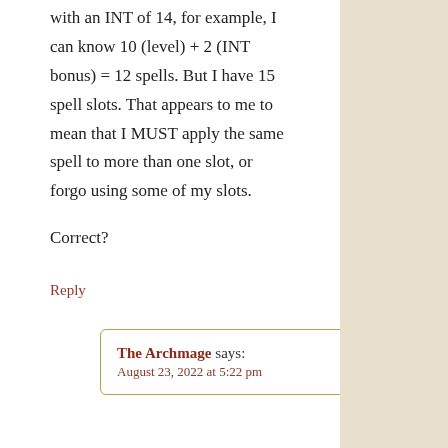with an INT of 14, for example, I can know 10 (level) + 2 (INT bonus) = 12 spells. But I have 15 spell slots. That appears to me to mean that I MUST apply the same spell to more than one slot, or forgo using some of my slots.
Correct?
Reply
The Archmage says: August 23, 2022 at 5:22 pm